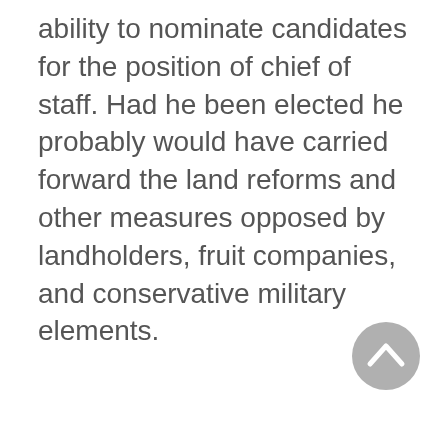ability to nominate candidates for the position of chief of staff. Had he been elected he probably would have carried forward the land reforms and other measures opposed by landholders, fruit companies, and conservative military elements.
[Figure (other): A circular scroll-to-top button with a grey background and an upward-pointing chevron arrow icon.]